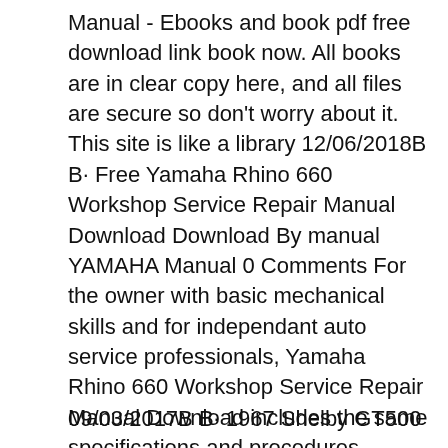Manual - Ebooks and book pdf free download link book now. All books are in clear copy here, and all files are secure so don't worry about it. This site is like a library 12/06/2018В В· Free Yamaha Rhino 660 Workshop Service Repair Manual Download Download By manual YAMAHA Manual 0 Comments For the owner with basic mechanical skills and for independant auto service professionals, Yamaha Rhino 660 Workshop Service Repair Manual Download includes the same specifications and procedures available to an authorised dealer service department.
09/03/2017В В· 1967 Shelby GT500